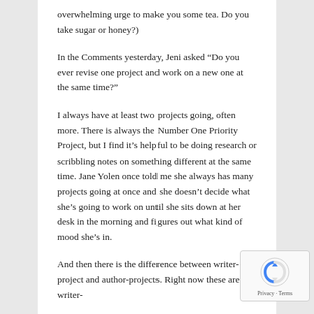overwhelming urge to make you some tea. Do you take sugar or honey?)
In the Comments yesterday, Jeni asked “Do you ever revise one project and work on a new one at the same time?”
I always have at least two projects going, often more. There is always the Number One Priority Project, but I find it’s helpful to be doing research or scribbling notes on something different at the same time. Jane Yolen once told me she always has many projects going at once and she doesn’t decide what she’s going to work on until she sits down at her desk in the morning and figures out what kind of mood she’s in.
And then there is the difference between writer-project and author-projects. Right now these are my writer-